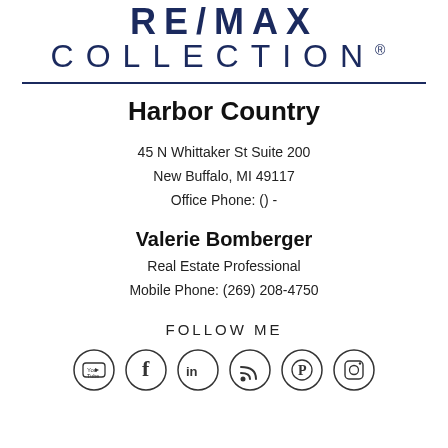[Figure (logo): RE/MAX Collection logo in dark navy blue, large bold uppercase letters REMAX on top line, COLLECTION in spaced uppercase below]
Harbor Country
45 N Whittaker St Suite 200
New Buffalo, MI 49117
Office Phone: () -
Valerie Bomberger
Real Estate Professional
Mobile Phone: (269) 208-4750
FOLLOW ME
[Figure (illustration): Row of 6 social media icons in circles: YouTube, Facebook, LinkedIn, RSS feed, Pinterest, Instagram]